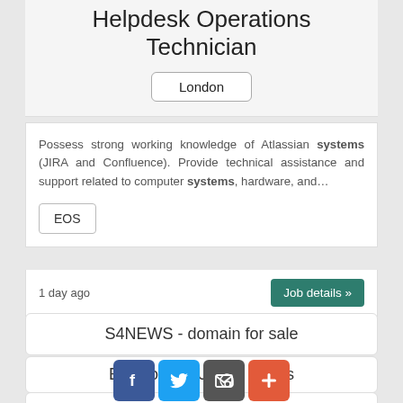Helpdesk Operations Technician
London
Possess strong working knowledge of Atlassian systems (JIRA and Confluence). Provide technical assistance and support related to computer systems, hardware, and…
EOS
1 day ago
Job details »
S4NEWS - domain for sale
Best jobs in United States